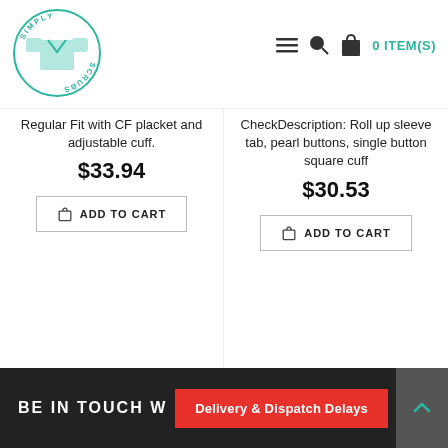[Figure (logo): Simply Scrubs circular logo with a teal scrub top icon and text around the circle]
0 ITEM(S)
Regular Fit with CF placket and adjustable cuff.
$33.94
ADD TO CART
CheckDescription: Roll up sleeve tab, pearl buttons, single button square cuff
$30.53
ADD TO CART
BE IN TOUCH W
Delivery & Dispatch Delays